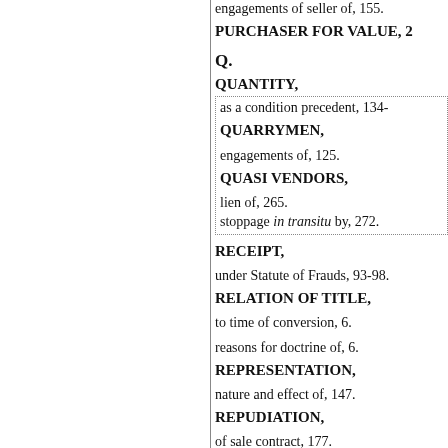engagements of seller of, 155.
PURCHASER FOR VALUE, 2
Q.
QUANTITY,
as a condition precedent, 134-
QUARRYMEN,
engagements of, 125.
QUASI VENDORS,
lien of, 265.
stoppage in transitu by, 272.
RECEIPT,
under Statute of Frauds, 93-98.
RELATION OF TITLE,
to time of conversion, 6.
reasons for doctrine of, 6.
REPRESENTATION,
nature and effect of, 147.
REPUDIATION,
of sale contract, 177.
REPUTED OWNERSHIP,